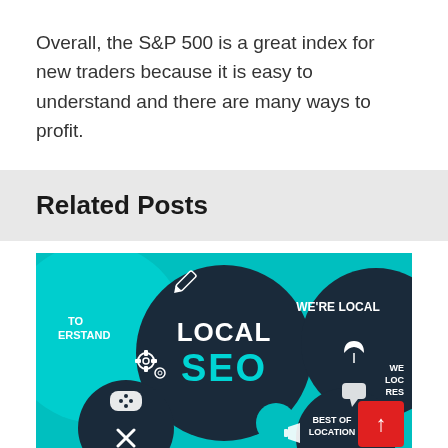Overall, the S&P 500 is a great index for new traders because it is easy to understand and there are many ways to profit.
Related Posts
[Figure (infographic): Local SEO infographic with teal and dark navy background, showing 'LOCAL SEO' text in center circle, with icons (gear, gamepad, tools, pencil, umbrella, chat bubble, megaphone) and text labels including 'TO ERSTAND', 'WE'RE LOCAL', 'BEST OF LOCATION', 'WE LOC RES' on the right side. Red scroll-to-top button in bottom right corner.]
Business Trader Trading...